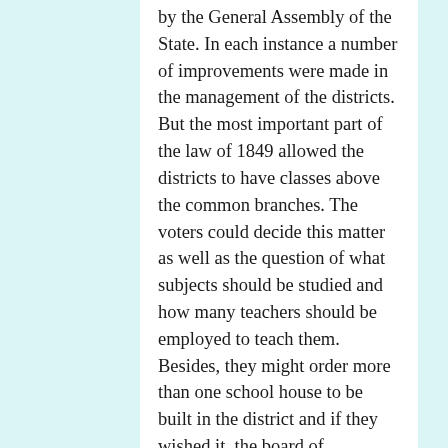by the General Assembly of the State. In each instance a number of improvements were made in the management of the districts. But the most important part of the law of 1849 allowed the districts to have classes above the common branches. The voters could decide this matter as well as the question of what subjects should be studied and how many teachers should be employed to teach them. Besides, they might order more than one school house to be built in the district and if they wished it, the board of education should classify the pupils. Such higher schools were not intended for towns only, but in the first place for any township or rural